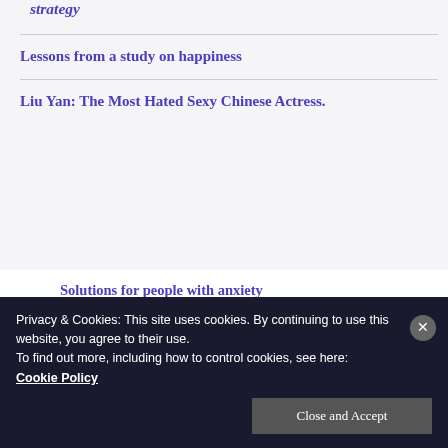strategy
Lessons from a study on happiness
Liu Yan: The Most Hated Sexy Chinese Actress.
Solutions for people with anxiety on Are you struggling to sleep? Here's what could be happening to
Privacy & Cookies: This site uses cookies. By continuing to use this website, you agree to their use.
To find out more, including how to control cookies, see here: Cookie Policy